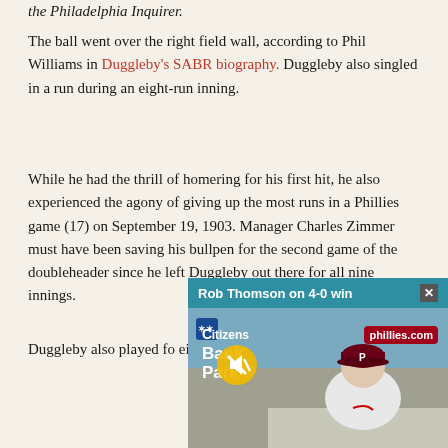the Philadelphia Inquirer.
The ball went over the right field wall, according to Phil Williams in Duggleby's SABR biography. Duggleby also singled in a run during an eight-run inning.
While he had the thrill of homering for his first hit, he also experienced the agony of giving up the most runs in a Phillies game (17) on September 19, 1903. Manager Charles Zimmer must have been saving his bullpen for the second game of the doubleheader since he left Duggleby out there for all nine innings.
Duggleby also played fo… eight year major league …
[Figure (screenshot): Video overlay showing 'Rob Thomson on 4-0 win' with a teal header bar and close button. The video frame shows Citizens Bank Park signage, a hillies.com banner, and a person in a Phillies uniform leaning over a podium. A muted audio icon is visible in the lower left of the video.]